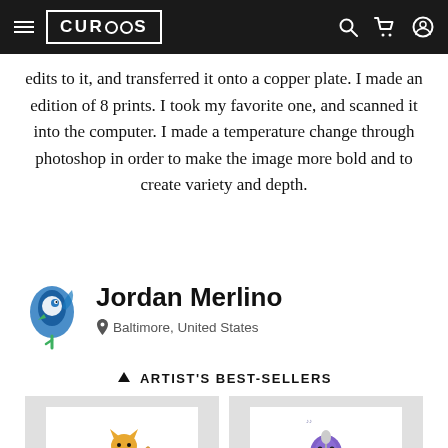CURIOOS — navigation bar with hamburger menu, logo, search, cart, and account icons
edits to it, and transferred it onto a copper plate. I made an edition of 8 prints. I took my favorite one, and scanned it into the computer. I made a temperature change through photoshop in order to make the image more bold and to create variety and depth.
[Figure (illustration): Jordan Merlino artist avatar — blue and green abstract bird/figure logo]
Jordan Merlino
📍 Baltimore, United States
↑ ARTIST'S BEST-SELLERS
[Figure (illustration): Product thumbnail 1: cartoon illustration of a dancing anthropomorphic cat/animal figure in yellow and brown colors]
[Figure (illustration): Product thumbnail 2: colorful illustration of a long-haired musician at a microphone in blue and purple tones]